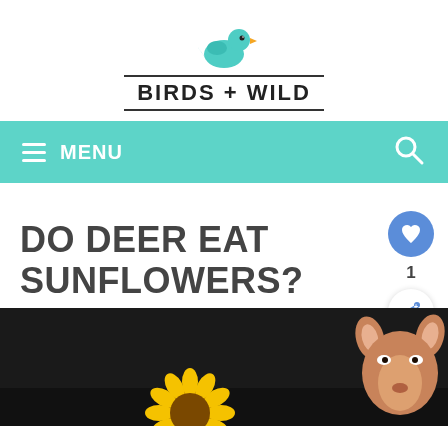[Figure (logo): Birds + Wild website logo with a teal bird illustration above the text 'BIRDS + WILD' in bold uppercase letters, with horizontal lines above and below the text.]
≡ MENU
DO DEER EAT SUNFLOWERS?
[Figure (photo): A deer peeking up from behind a sunflower, dark background at the bottom of the image.]